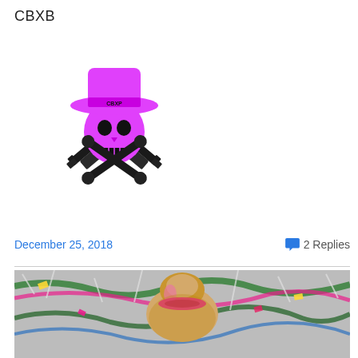CBXB
[Figure (logo): CBXB logo: pink skull wearing a cowboy hat with crossed pistols, text 'CBXB' on hat band]
December 25, 2018
2 Replies
[Figure (photo): Close-up photo of a person with blonde hair styled in a bun with a pink highlight and pink hair tie, surrounded by colorful Christmas tinsel and decorations]